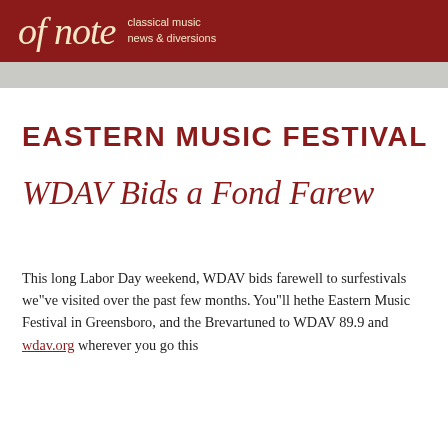of note — classical music news & diversions
EASTERN MUSIC FESTIVAL
WDAV Bids a Fond Farew
This long Labor Day weekend, WDAV bids farewell to summer festivals we've visited over the past few months. You'll hear the Eastern Music Festival in Greensboro, and the Brevar tuned to WDAV 89.9 and wdav.org wherever you go this